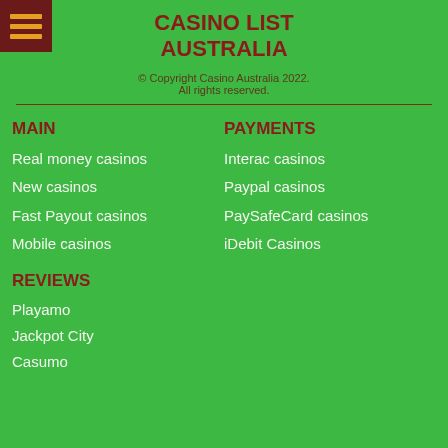CASINO LIST AUSTRALIA
© Copyright Casino Australia 2022.
All rights reserved.
MAIN
PAYMENTS
Real money casinos
Interac casinos
New casinos
Paypal casinos
Fast Payout casinos
PaySafeCard casinos
Mobile casinos
iDebit Casinos
REVIEWS
Playamo
Jackpot City
Casumo